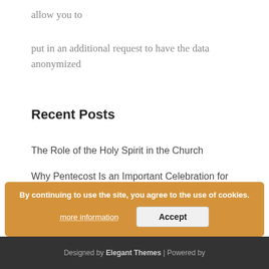allow you to
put in an additional request to have the data anonymized
Recent Posts
The Role of the Holy Spirit in the Church
Why Pentecost Is an Important Celebration for Christians
May 13th Is Our Lady of Fatima Feast Day
Fourth Sunday of Easter; Good Shepherd Sunday
Saint Florian, the Patron Saint of Firefighters
By continuing to use the site, you agree to the use of cookies.
more information | Accept
Designed by Elegant Themes | Powered by